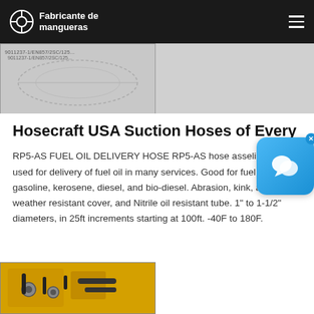Fabricante de mangueras
[Figure (photo): Close-up photo of a hose with printed certification markings including text resembling EN857/2SC/125]
Hosecraft USA Suction Hoses of Every
RP5-AS FUEL OIL DELIVERY HOSE RP5-AS hose asselies are used for delivery of fuel oil in many services. Good for fuel oils, gasoline, kerosene, diesel, and bio-diesel. Abrasion, kink, and weather resistant cover, and Nitrile oil resistant tube. 1" to 1-1/2" diameters, in 25ft increments starting at 100ft. -40F to 180F.
[Figure (photo): Photo of yellow industrial hydraulic machinery with black hoses and fittings attached]